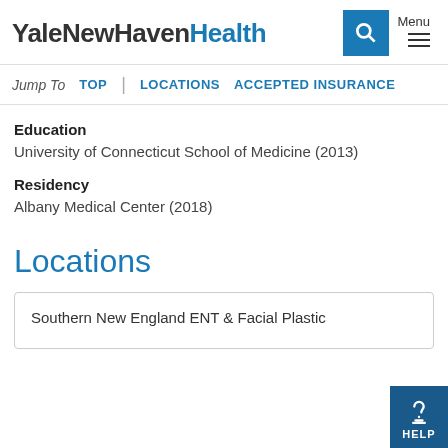YaleNewHavenHealth
Jump To  TOP  |  LOCATIONS  ACCEPTED INSURANCE
Education
University of Connecticut School of Medicine (2013)
Residency
Albany Medical Center (2018)
Locations
Southern New England ENT & Facial Plastic